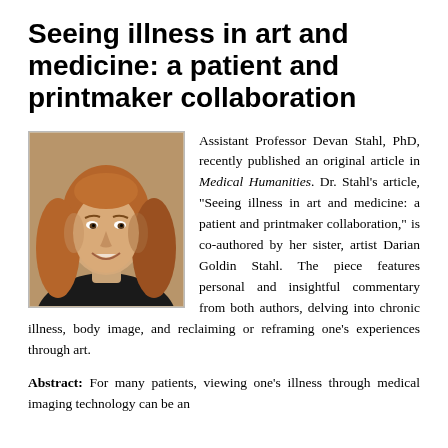Seeing illness in art and medicine: a patient and printmaker collaboration
[Figure (photo): Headshot of Assistant Professor Devan Stahl, PhD — a woman with long reddish-blonde hair, smiling, wearing a dark jacket]
Assistant Professor Devan Stahl, PhD, recently published an original article in Medical Humanities. Dr. Stahl’s article, “Seeing illness in art and medicine: a patient and printmaker collaboration,” is co-authored by her sister, artist Darian Goldin Stahl. The piece features personal and insightful commentary from both authors, delving into chronic illness, body image, and reclaiming or reframing one’s experiences through art.
Abstract: For many patients, viewing one’s illness through medical imaging technology can be an